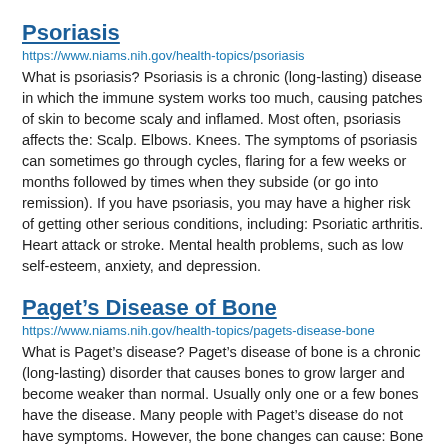Psoriasis
https://www.niams.nih.gov/health-topics/psoriasis
What is psoriasis? Psoriasis is a chronic (long-lasting) disease in which the immune system works too much, causing patches of skin to become scaly and inflamed. Most often, psoriasis affects the: Scalp. Elbows. Knees. The symptoms of psoriasis can sometimes go through cycles, flaring for a few weeks or months followed by times when they subside (or go into remission). If you have psoriasis, you may have a higher risk of getting other serious conditions, including: Psoriatic arthritis. Heart attack or stroke. Mental health problems, such as low self-esteem, anxiety, and depression.
Paget’s Disease of Bone
https://www.niams.nih.gov/health-topics/pagets-disease-bone
What is Paget’s disease? Paget’s disease of bone is a chronic (long-lasting) disorder that causes bones to grow larger and become weaker than normal. Usually only one or a few bones have the disease. Many people with Paget’s disease do not have symptoms. However, the bone changes can cause: Bone pain. Misshapen bones. Broken bones (fractures). Problems in the joints near the bones with the disease. With treatment, many people can: Manage